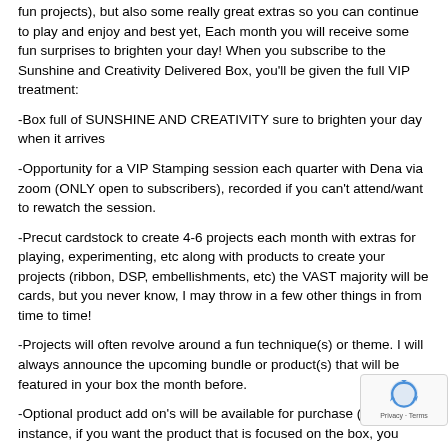fun projects), but also some really great extras so you can continue to play and enjoy and best yet, Each month you will receive some fun surprises to brighten your day! When you subscribe to the Sunshine and Creativity Delivered Box, you'll be given the full VIP treatment:
-Box full of SUNSHINE AND CREATIVITY sure to brighten your day when it arrives
-Opportunity for a VIP Stamping session each quarter with Dena via zoom (ONLY open to subscribers), recorded if you can't attend/want to rewatch the session.
-Precut cardstock to create 4-6 projects each month with extras for playing, experimenting, etc along with products to create your projects (ribbon, DSP, embellishments, etc) the VAST majority will be cards, but you never know, I may throw in a few other things in from time to time!
-Projects will often revolve around a fun technique(s) or theme. I will always announce the upcoming bundle or product(s) that will be featured in your box the month before.
-Optional product add on's will be available for purchase (for instance, if you want the product that is focused on the box, you